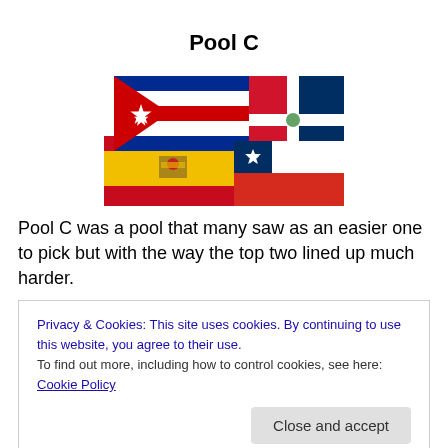Pool C
[Figure (illustration): Collage of overlapping national flags including Spain, Cuba, Dominican Republic, and Chile]
Pool C was a pool that many saw as an easier one to pick but with the way the top two lined up much harder.
Privacy & Cookies: This site uses cookies. By continuing to use this website, you agree to their use.
To find out more, including how to control cookies, see here: Cookie Policy
Close and accept
be the defining moment for both teams as they would face